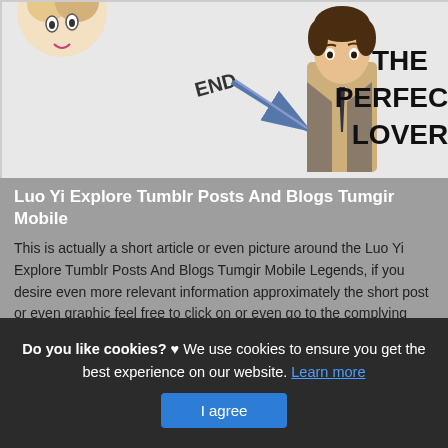[Figure (illustration): Illustration/manga-style image showing anime/cartoon characters, an arrow with 'END' text, a male character in a suit with a tie, and bold text reading 'THE PERFECT LOVER' on the right side.]
Luo Yi Explore Tumblr Posts And Blogs Tumgir Mobile
This is actually a short article or even picture around the Luo Yi Explore Tumblr Posts And Blogs Tumgir Mobile Legends, if you desire even more relevant information approximately the short post or even graphic feel free to click on or even go to the complying with web link or even web link .
(Read More)
Do you like cookies? ♥ We use cookies to ensure you get the best experience on our website. Learn more
I agree